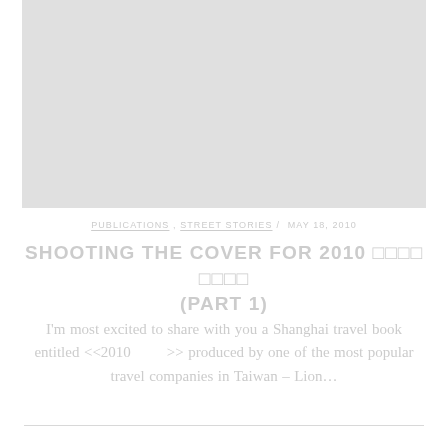[Figure (photo): Large light gray rectangular image placeholder at top of page]
PUBLICATIONS , STREET STORIES / MAY 18, 2010
SHOOTING THE COVER FOR 2010 □□□□ □□□□ (PART 1)
I'm most excited to share with you a Shanghai travel book entitled <<2010        >> produced by one of the most popular travel companies in Taiwan – Lion...